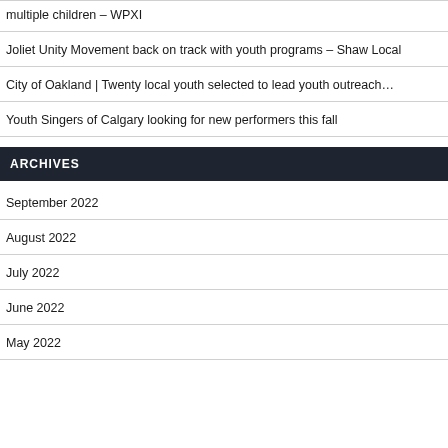multiple children – WPXI
Joliet Unity Movement back on track with youth programs – Shaw Local
City of Oakland | Twenty local youth selected to lead youth outreach…
Youth Singers of Calgary looking for new performers this fall
ARCHIVES
September 2022
August 2022
July 2022
June 2022
May 2022